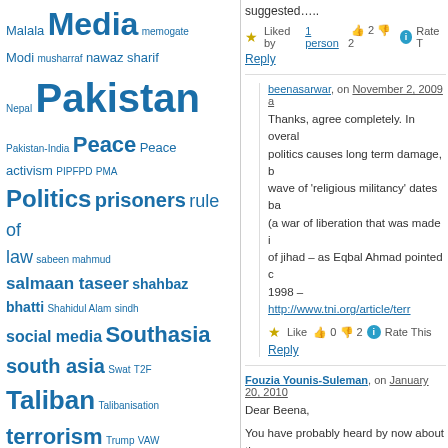Malala Media memogate Modi musharraf nawaz sharif Nepal Pakistan Pakistan-India Peace Peace activism PIPFPD PMA Politics prisoners rule of law sabeen mahmud salmaan taseer shahbaz bhatti Shahidul Alam sindh social media Southasia south asia Swat T2F Taliban Talibanisation terrorism Trump VAW violence Violence against women women Zakia Sarwar
Top Posts
Floods in Pakistan: Many eager to help held back by restrictions
About
Pakistan's first 'tarana', by
suggested…..
★ Liked by 1 person 👍 2 👎 2 ℹ Rate T
Reply
beenasarwar, on November 2, 2009 a
Thanks, agree completely. In overall politics causes long term damage, b wave of 'religious militancy' dates ba (a war of liberation that was made i of jihad – as Eqbal Ahmad pointed c 1998 – http://www.tni.org/article/terr
★ Like 👍 0 👎 2 ℹ Rate This
Reply
Fouzia Younis-Suleman, on January 20, 2010
Dear Beena,
You have probably heard by now about the the British government in London on 28 Ja is major event that is already beginning to a number of international delegations wil